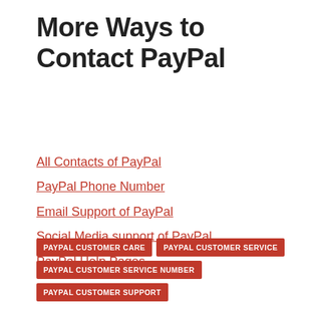More Ways to Contact PayPal
All Contacts of PayPal
PayPal Phone Number
Email Support of PayPal
Social Media support of PayPal
PayPal Help Pages
PAYPAL CUSTOMER CARE
PAYPAL CUSTOMER SERVICE
PAYPAL CUSTOMER SERVICE NUMBER
PAYPAL CUSTOMER SUPPORT